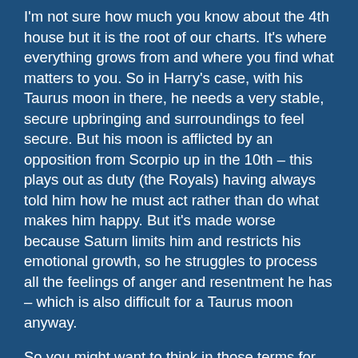I'm not sure how much you know about the 4th house but it is the root of our charts. It's where everything grows from and where you find what matters to you. So in Harry's case, with his Taurus moon in there, he needs a very stable, secure upbringing and surroundings to feel secure. But his moon is afflicted by an opposition from Scorpio up in the 10th – this plays out as duty (the Royals) having always told him how he must act rather than do what makes him happy. But it's made worse because Saturn limits him and restricts his emotional growth, so he struggles to process all the feelings of anger and resentment he has – which is also difficult for a Taurus moon anyway.
So you might want to think in those terms for your own chart. With your Saturn